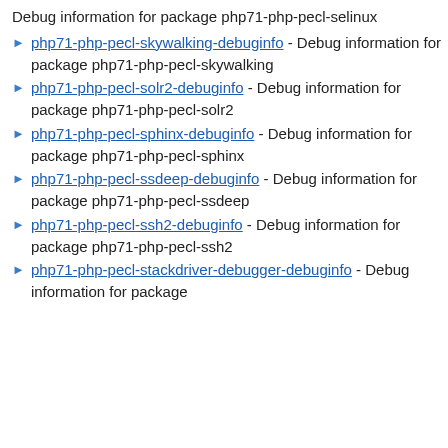Debug information for package php71-php-pecl-selinux
php71-php-pecl-skywalking-debuginfo - Debug information for package php71-php-pecl-skywalking
php71-php-pecl-solr2-debuginfo - Debug information for package php71-php-pecl-solr2
php71-php-pecl-sphinx-debuginfo - Debug information for package php71-php-pecl-sphinx
php71-php-pecl-ssdeep-debuginfo - Debug information for package php71-php-pecl-ssdeep
php71-php-pecl-ssh2-debuginfo - Debug information for package php71-php-pecl-ssh2
php71-php-pecl-stackdriver-debugger-debuginfo - Debug information for package